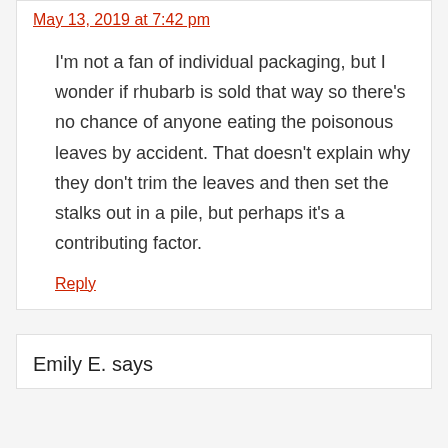May 13, 2019 at 7:42 pm
I'm not a fan of individual packaging, but I wonder if rhubarb is sold that way so there's no chance of anyone eating the poisonous leaves by accident. That doesn't explain why they don't trim the leaves and then set the stalks out in a pile, but perhaps it's a contributing factor.
Reply
Emily E. says